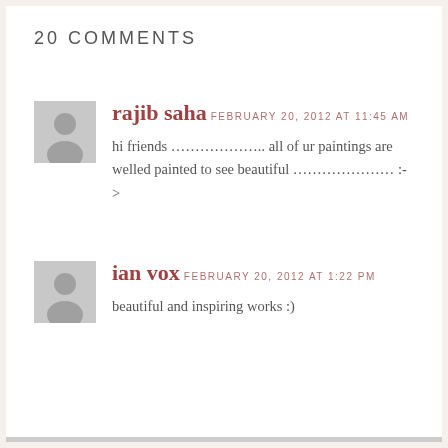20 COMMENTS
rajib saha
FEBRUARY 20, 2012 AT 11:45 AM
hi friends ……………….. all of ur paintings are welled painted to see beautiful ………………… :->
ian vox
FEBRUARY 20, 2012 AT 1:22 PM
beautiful and inspiring works :)